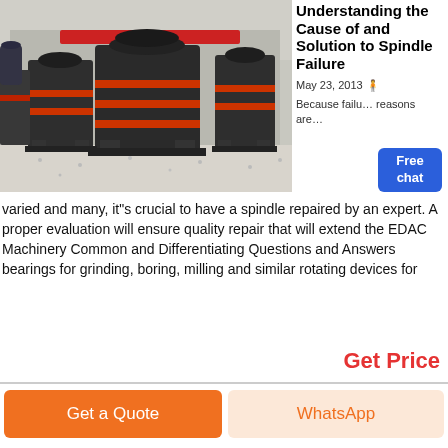[Figure (photo): Industrial cone crusher / spindle machines in a factory warehouse setting. Multiple large black metal machines on gravel floor, red banner in background.]
Understanding the Cause of and Solution to Spindle Failure
May 23, 2013
Because failure reasons are varied and many, it"s crucial to have a spindle repaired by an expert. A proper evaluation will ensure quality repair that will extend the EDAC Machinery Common and Differentiating Questions and Answers bearings for grinding, boring, milling and similar rotating devices for
Get Price
Get a Quote
WhatsApp